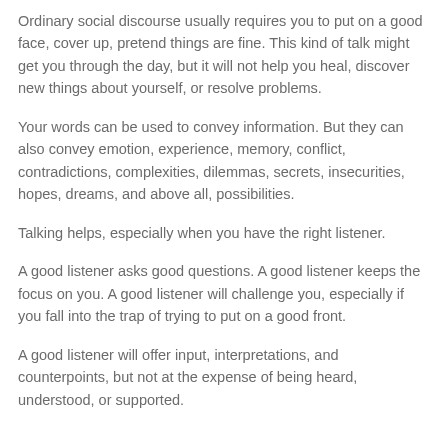Ordinary social discourse usually requires you to put on a good face, cover up, pretend things are fine. This kind of talk might get you through the day, but it will not help you heal, discover new things about yourself, or resolve problems.
Your words can be used to convey information. But they can also convey emotion, experience, memory, conflict, contradictions, complexities, dilemmas, secrets, insecurities, hopes, dreams, and above all, possibilities.
Talking helps, especially when you have the right listener.
A good listener asks good questions. A good listener keeps the focus on you. A good listener will challenge you, especially if you fall into the trap of trying to put on a good front.
A good listener will offer input, interpretations, and counterpoints, but not at the expense of being heard, understood, or supported.